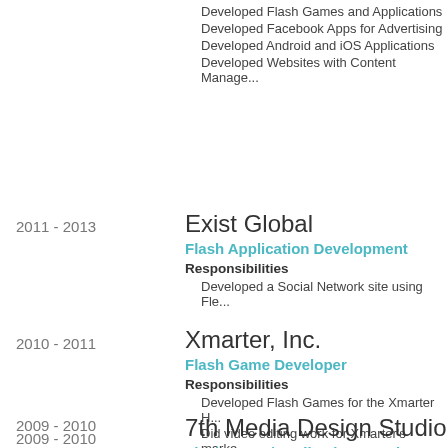Developed Flash Games and Applications
Developed Facebook Apps for Advertising
Developed Android and iOS Applications
Developed Websites with Content Manage...
2011 - 2013
Exist Global
Flash Application Development
Responsibilities
Developed a Social Network site using Fle...
2010 - 2011
Xmarter, Inc.
Flash Game Developer
Responsibilities
Developed Flash Games for the Xmarter H...
Did video editing work for Xmarter's marke...
2009 - 2010
7th Media Design Studio
Flash Game/Application Developer
Responsibilities